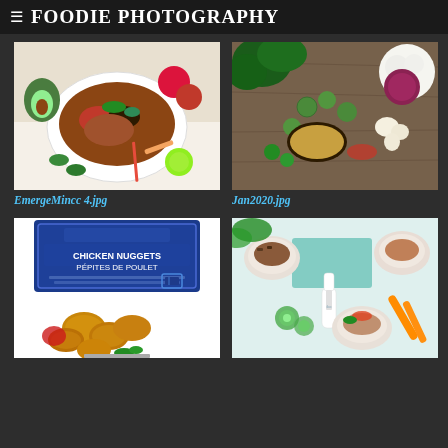FOODIE PHOTOGRAPHY
EmergeMincc 4.jpg
Jan2020.jpg
[Figure (photo): Food photo showing a bowl of seasoned meat with black beans, surrounded by avocado, tomatoes, peppers, lime, and tortillas]
[Figure (photo): Overhead shot of vegetables and ingredients on a wooden table including kale, cauliflower, brussels sprouts, garlic, onion, and grains]
[Figure (photo): Chicken nuggets product packaging (Pépites de Poulet) with nuggets displayed below on white background]
[Figure (photo): Overhead food shot showing bowls with food, carrots, cucumber, sauces and garnishes on a light background]